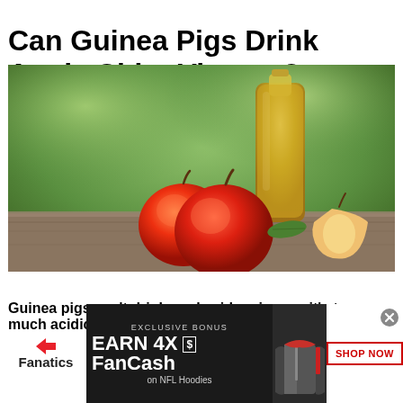Can Guinea Pigs Drink Apple Cider Vinegar?
[Figure (photo): A glass bottle of apple cider vinegar with two red apples and an apple half on a wooden surface, green bokeh background.]
Guinea pigs can't drink apple cider vinegar, it's too much acidic for them
[Figure (infographic): Fanatics advertisement banner: EXCLUSIVE BONUS EARN 4X FanCash on NFL Hoodies with SHOP NOW button and jacket image.]